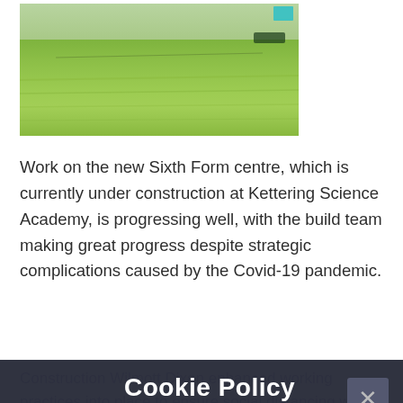[Figure (photo): Aerial/ground view of a grassy field with construction site for Sixth Form centre at Kettering Science Academy]
Work on the new Sixth Form centre, which is currently under construction at Kettering Science Academy, is progressing well, with the build team making great progress despite strategic complications caused by the Covid-19 pandemic.
Construction Wilmott Dixon enhanced working practices into place to ensure social distancing was observed, Cox plans ensure that workers were safe on site so that the build was able to continue a the t
Cookie Policy
This site uses cookies to store information on your computer. Click here for more information
Allow Cookies   Deny Cookies